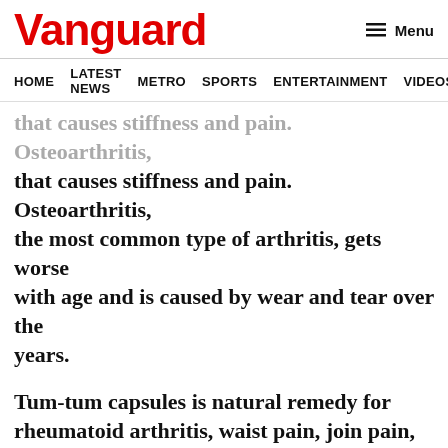Vanguard
HOME  LATEST NEWS  METRO  SPORTS  ENTERTAINMENT  VIDEOS
that causes stiffness and pain. Osteoarthritis, the most common type of arthritis, gets worse with age and is caused by wear and tear over the years.
Tum-tum capsules is natural remedy for rheumatoid arthritis, waist pain, join pain, cramps, neck and leg pains, relieves pain and stiffness.
It works better and faster than anti-inflammatory medications and painkillers